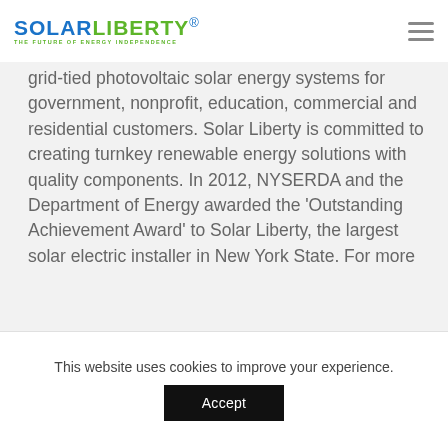SOLARLIBERTY® THE FUTURE OF ENERGY INDEPENDENCE
grid-tied photovoltaic solar energy systems for government, nonprofit, education, commercial and residential customers. Solar Liberty is committed to creating turnkey renewable energy solutions with quality components. In 2012, NYSERDA and the Department of Energy awarded the 'Outstanding Achievement Award' to Solar Liberty, the largest solar electric installer in New York State. For more
This website uses cookies to improve your experience.
Accept